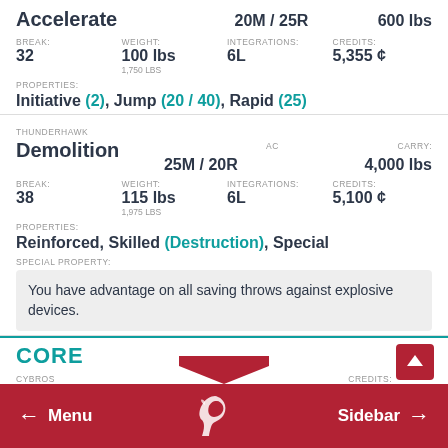Accelerate — AC: 20M / 25R, CARRY: 600 lbs, BREAK: 32, WEIGHT: 100 lbs / 1,750 LBS, INTEGRATIONS: 6L, CREDITS: 5,355 ¢, PROPERTIES: Initiative (2), Jump (20 / 40), Rapid (25)
THUNDERHAWK
Demolition — AC: 25M / 20R, CARRY: 4,000 lbs, BREAK: 38, WEIGHT: 115 lbs / 1,975 LBS, INTEGRATIONS: 6L, CREDITS: 5,100 ¢, PROPERTIES: Reinforced, Skilled (Destruction), Special
SPECIAL PROPERTY: You have advantage on all saving throws against explosive devices.
CORE
CYBROS — CREDITS:
← Menu  [logo]  Sidebar →